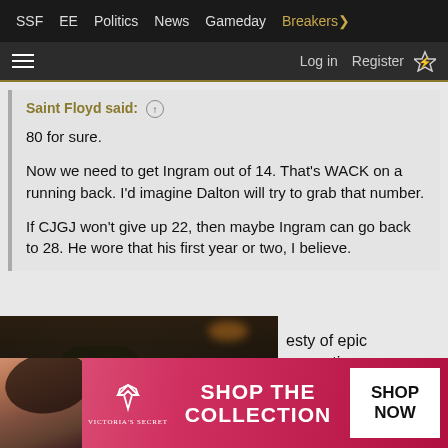SSF  EE  Politics  News  Gameday  Breakers
Log in  Register
Saint Floyd said: ↑

80 for sure.

Now we need to get Ingram out of 14. That's WACK on a running back. I'd imagine Dalton will try to grab that number.

If CJGJ won't give up 22, then maybe Ingram can go back to 28. He wore that his first year or two, I believe.
[Figure (photo): Video thumbnail of a Saints football player in black and gold jersey, with a play button overlay]
esty of epic proportions.
content, tailor your experience an
[Figure (photo): Victoria's Secret advertisement with model, VS logo, SHOP THE COLLECTION text and SHOP NOW button]